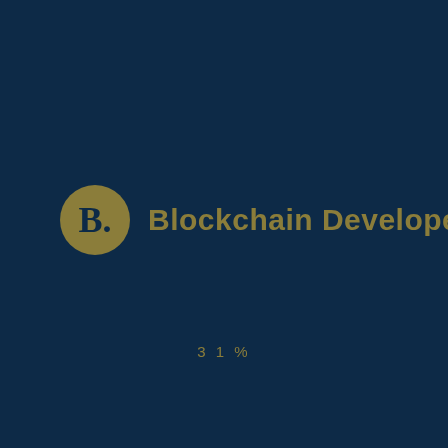[Figure (logo): Blockchain Developer Asia logo: a gold circle with bold 'B.' followed by the text 'Blockchain Developer Asia' in gold on a dark navy background]
31%